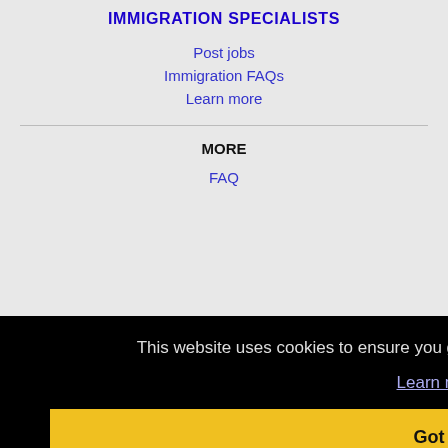IMMIGRATION SPECIALISTS
Post jobs
Immigration FAQs
Learn more
MORE
FAQ
This website uses cookies to ensure you get the best experience on our website.
Learn more
Got it!
Boynton Beach, FL Jobs